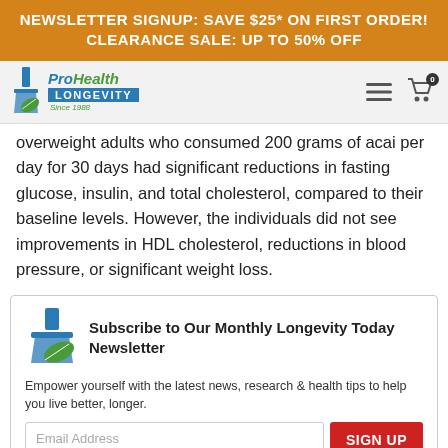NEWSLETTER SIGNUP: SAVE $25* ON FIRST ORDER! CLEARANCE SALE: UP TO 50% OFF
[Figure (logo): ProHealth Longevity logo with flask and leaf, Since 1988]
overweight adults who consumed 200 grams of acai per day for 30 days had significant reductions in fasting glucose, insulin, and total cholesterol, compared to their baseline levels. However, the individuals did not see improvements in HDL cholesterol, reductions in blood pressure, or significant weight loss.
Subscribe to Our Monthly Longevity Today Newsletter
Empower yourself with the latest news, research & health tips to help you live better, longer.